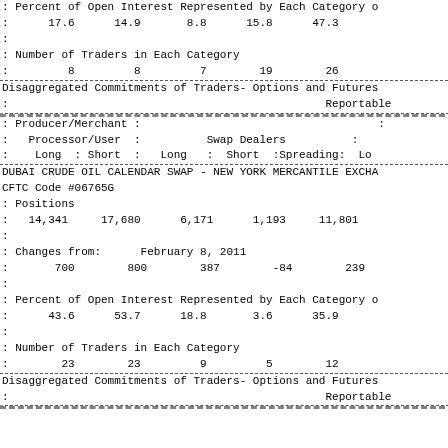: Percent of Open Interest Represented by Each Category o
:      17.6      14.9       8.8      15.8      47.3
:
: Number of Traders in Each Category
:         8         8         7        19        26
Disaggregated Commitments of Traders- Options and Futures
:                                                Reportable
: Producer/Merchant :                                    :
:   Processor/User  :          Swap Dealers          :
:    Long  : Short  :   Long   :  Short  :Spreading:  Lo
DUBAI CRUDE OIL CALENDAR SWAP - NEW YORK MERCANTILE EXCHA
CFTC Code #06765G
: Positions
:   14,341     17,680      6,171      1,193     11,801
:
: Changes from:      February 8, 2011
:       700        800        387        -84        239
:
: Percent of Open Interest Represented by Each Category o
:      43.6      53.7      18.8       3.6      35.9
:
: Number of Traders in Each Category
:        23        23         9         5        12
Disaggregated Commitments of Traders- Options and Futures
:                                                Reportable